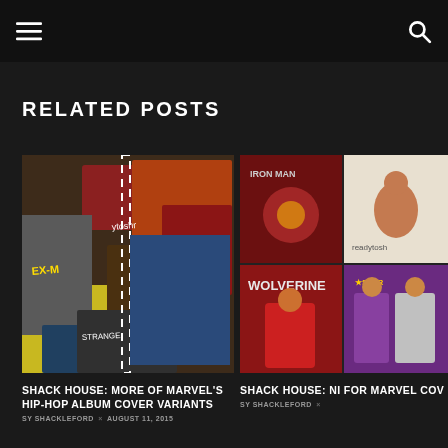RELATED POSTS
[Figure (photo): Collage of Marvel hip-hop album cover variant comic books spread across the image]
SHACK HOUSE: MORE OF MARVEL'S HIP-HOP ALBUM COVER VARIANTS
SY SHACKLEFORD × AUGUST 11, 2015
[Figure (photo): Grid of four Marvel comic covers including Iron Man and Wolverine hip-hop variants]
SHACK HOUSE: NI FOR MARVEL COV
SY SHACKLEFORD ×